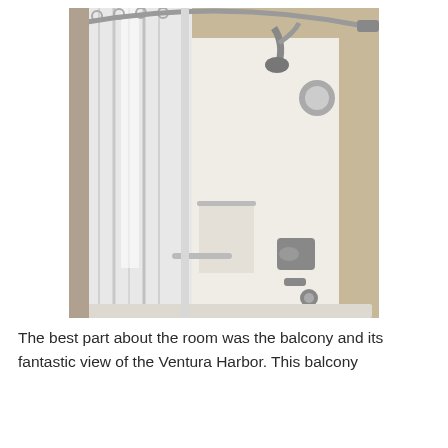[Figure (photo): A bathroom shower/tub combination with a white shower curtain pulled partially to one side, revealing chrome faucet handles, a showerhead on a curved rod, and white tub surround walls against a beige/tan background.]
The best part about the room was the balcony and its fantastic view of the Ventura Harbor. This balcony